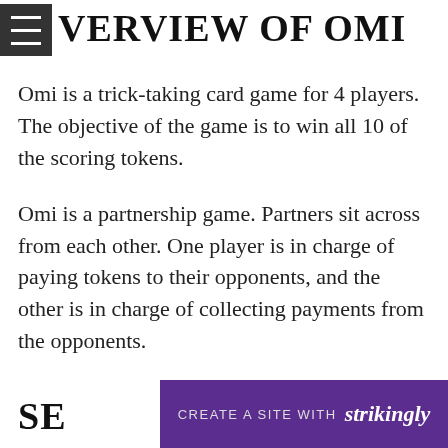OVERVIEW OF OMI
Omi is a trick-taking card game for 4 players. The objective of the game is to win all 10 of the scoring tokens.
Omi is a partnership game. Partners sit across from each other. One player is in charge of paying tokens to their opponents, and the other is in charge of collecting payments from the opponents.
SE
[Figure (screenshot): Purple banner at bottom reading CREATE A SITE WITH strikingly]